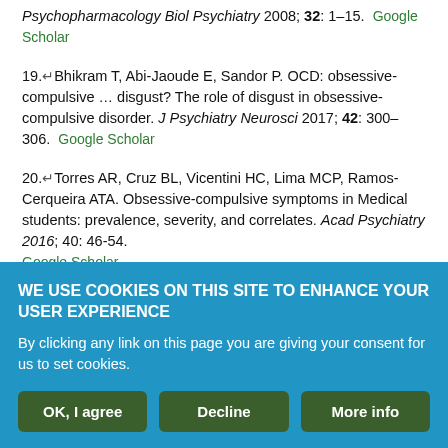Psychopharmacology Biol Psychiatry 2008; 32: 1–15. Google Scholar
19. Bhikram T, Abi-Jaoude E, Sandor P. OCD: obsessive-compulsive … disgust? The role of disgust in obsessive-compulsive disorder. J Psychiatry Neurosci 2017; 42: 300–306. Google Scholar
20. Torres AR, Cruz BL, Vicentini HC, Lima MCP, Ramos-Cerqueira ATA. Obsessive-compulsive symptoms in Medical students: prevalence, severity, and correlates. Acad Psychiatry 2016; 40: 46-54. Google Scholar
21. Rosso G, Albert U, Asinari GF, Bogetto F, Maina G. Stressful life events and obsessive-compulsive disorder: clinical features and symptom dimensions. Psychiatry Res 2012; 197: 259–264. PubMed Google Scholar
WE USE COOKIES ON THIS SITE TO ENHANCE YOUR USER EXPERIENCE
By clicking any link on this page you are giving your consent for us to set cookies.